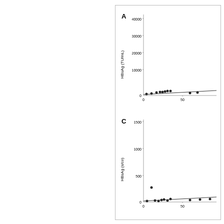[Figure (continuous-plot): Scatter plot A: HBsAg (TU/mL) on y-axis (0 to 40000), x-axis 0 to 50+. Dots clustered near bottom left with a trend line.]
[Figure (continuous-plot): Scatter plot C: HBsAg (s/co) on y-axis (0 to 1500), x-axis 0 to 50+. Dots mostly near bottom, one outlier around 250, trend line.]